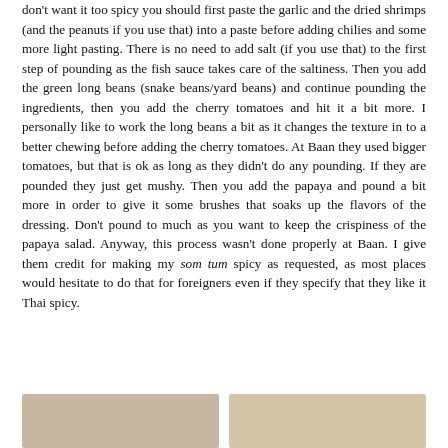don't want it too spicy you should first paste the garlic and the dried shrimps (and the peanuts if you use that) into a paste before adding chilies and some more light pasting. There is no need to add salt (if you use that) to the first step of pounding as the fish sauce takes care of the saltiness. Then you add the green long beans (snake beans/yard beans) and continue pounding the ingredients, then you add the cherry tomatoes and hit it a bit more. I personally like to work the long beans a bit as it changes the texture in to a better chewing before adding the cherry tomatoes. At Baan they used bigger tomatoes, but that is ok as long as they didn't do any pounding. If they are pounded they just get mushy. Then you add the papaya and pound a bit more in order to give it some brushes that soaks up the flavors of the dressing. Don't pound to much as you want to keep the crispiness of the papaya salad. Anyway, this process wasn't done properly at Baan. I give them credit for making my som tum spicy as requested, as most places would hesitate to do that for foreigners even if they specify that they like it Thai spicy.
[Figure (photo): Two food photographs side by side at the bottom of the page, partially visible. Left image appears to show a dish with warm tones, right image also shows food.]